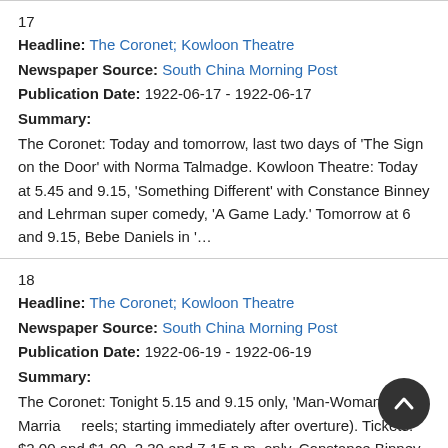17
Headline: The Coronet; Kowloon Theatre
Newspaper Source: South China Morning Post
Publication Date: 1922-06-17 - 1922-06-17
Summary:
The Coronet: Today and tomorrow, last two days of 'The Sign on the Door' with Norma Talmadge. Kowloon Theatre: Today at 5.45 and 9.15, 'Something Different' with Constance Binney and Lehrman super comedy, 'A Game Lady.' Tomorrow at 6 and 9.15, Bebe Daniels in '…
18
Headline: The Coronet; Kowloon Theatre
Newspaper Source: South China Morning Post
Publication Date: 1922-06-19 - 1922-06-19
Summary:
The Coronet: Tonight 5.15 and 9.15 only, 'Man-Woman-Marriage' reels; starting immediately after overture). Tickets: $2.00 and $1.00. 2.30 and 7.15 p.m. only, Constance Binney in 'Something Different' and 'A Game Lady.' Kowloon Theatre: Tonight at 9.15,